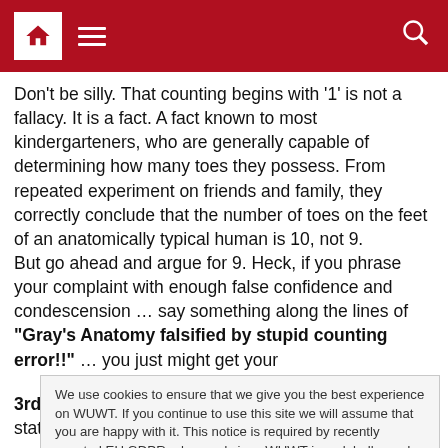Navigation bar with home, menu, and search icons
Don't be silly. That counting begins with '1' is not a fallacy. It is a fact. A fact known to most kindergarteners, who are generally capable of determining how many toes they possess. From repeated experiment on friends and family, they correctly conclude that the number of toes on the feet of an anatomically typical human is 10, not 9.
But go ahead and argue for 9. Heck, if you phrase your complaint with enough false confidence and condescension … say something along the lines of "Gray's Anatomy falsified by stupid counting error!!" … you just might get your
We use cookies to ensure that we give you the best experience on WUWT. If you continue to use this site we will assume that you are happy with it. This notice is required by recently enacted EU GDPR rules, and since WUWT is a globally read website, we need to keep the bureaucrats off our case! Cookie Policy
3rd) millennium is cooling. The 2000s have seen statistically